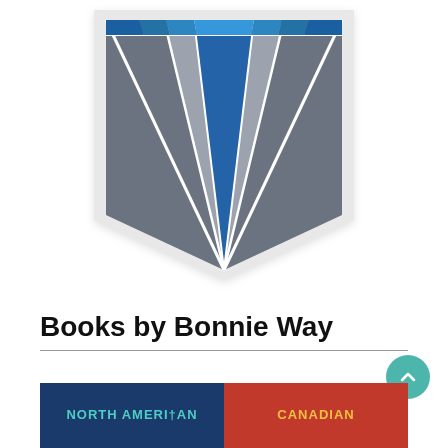[Figure (logo): Shield-shaped logo with blue and grey geometric rays/triangles emanating from a central blue triangle, on a white background]
Books by Bonnie Way
[Figure (illustration): Partial view of two book covers side by side: left is dark blue with teal text 'NORTH AMERICAN', right is red with yellow text 'CANADIAN']